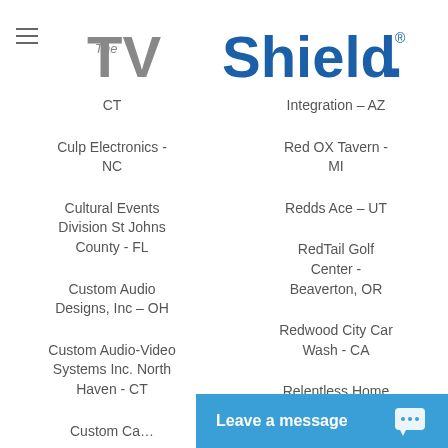[Figure (logo): The TV Shield logo with registered trademark symbol]
CT
Integration – AZ
Culp Electronics - NC
Red OX Tavern - MI
Cultural Events Division St Johns County - FL
Redds Ace – UT
Custom Audio Designs, Inc – OH
RedTail Golf Center - Beaverton, OR
Custom Audio-Video Systems Inc. North Haven - CT
Redwood City Car Wash - CA
Custom Ca…
Relentless Home Theater – AL